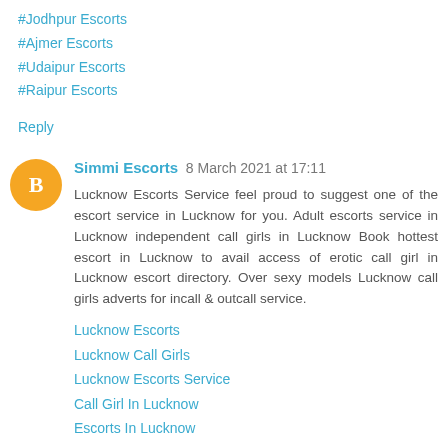#Jodhpur Escorts
#Ajmer Escorts
#Udaipur Escorts
#Raipur Escorts
Reply
Simmi Escorts  8 March 2021 at 17:11
Lucknow Escorts Service feel proud to suggest one of the escort service in Lucknow for you. Adult escorts service in Lucknow independent call girls in Lucknow Book hottest escort in Lucknow to avail access of erotic call girl in Lucknow escort directory. Over sexy models Lucknow call girls adverts for incall & outcall service.
Lucknow Escorts
Lucknow Call Girls
Lucknow Escorts Service
Call Girl In Lucknow
Escorts In Lucknow
Reply